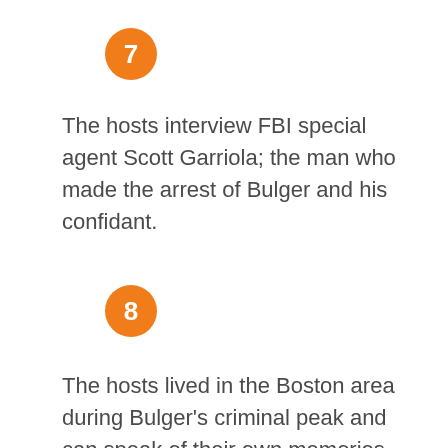7
The hosts interview FBI special agent Scott Garriola; the man who made the arrest of Bulger and his confidant.
8
The hosts lived in the Boston area during Bulger's criminal peak and can speak of their own memories and discoveries while